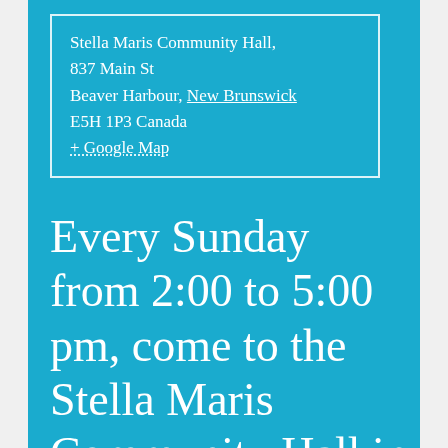Stella Maris Community Hall, 837 Main St
Beaver Harbour, New Brunswick
E5H 1P3 Canada
+ Google Map
Every Sunday from 2:00 to 5:00 pm, come to the Stella Maris Community Hall in Beaver Harbour (837